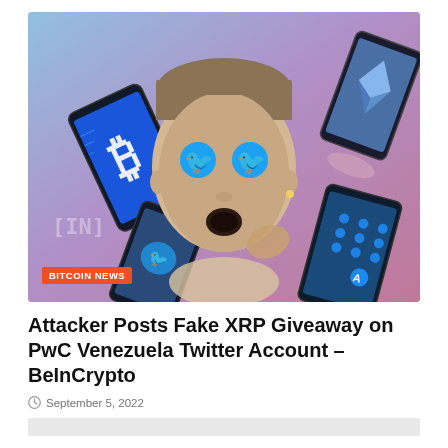[Figure (illustration): Illustrated collage showing a surprised vintage woman with Twitter bird icons as eyes, surrounded by hands holding smartphones displaying Bitcoin, Ethereum, and Cardano logos, on a purple-blue gradient background. Orange badge in bottom-left reads 'BITCOIN NEWS'.]
Attacker Posts Fake XRP Giveaway on PwC Venezuela Twitter Account – BeInCrypto
September 5, 2022